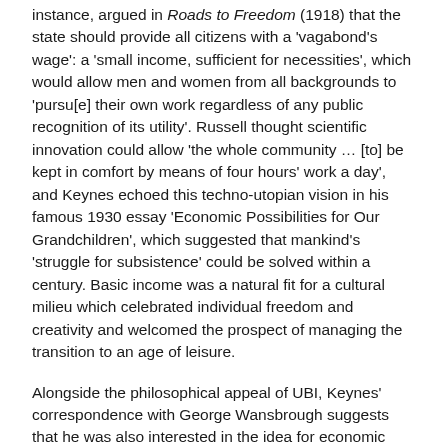instance, argued in Roads to Freedom (1918) that the state should provide all citizens with a 'vagabond's wage': a 'small income, sufficient for necessities', which would allow men and women from all backgrounds to 'pursu[e] their own work regardless of any public recognition of its utility'. Russell thought scientific innovation could allow 'the whole community … [to] be kept in comfort by means of four hours' work a day', and Keynes echoed this techno-utopian vision in his famous 1930 essay 'Economic Possibilities for Our Grandchildren', which suggested that mankind's 'struggle for subsistence' could be solved within a century. Basic income was a natural fit for a cultural milieu which celebrated individual freedom and creativity and welcomed the prospect of managing the transition to an age of leisure.
Alongside the philosophical appeal of UBI, Keynes' correspondence with George Wansbrough suggests that he was also interested in the idea for economic reasons. As Wansbrough pointed out, basic income offered a way of